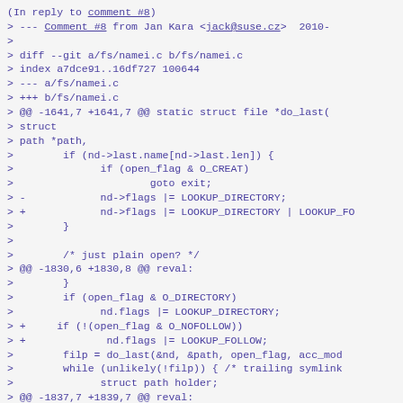(In reply to comment #8)
> --- Comment #8 from Jan Kara <jack@suse.cz>  2010-
>
> diff --git a/fs/namei.c b/fs/namei.c
> index a7dce91..16df727 100644
> --- a/fs/namei.c
> +++ b/fs/namei.c
> @@ -1641,7 +1641,7 @@ static struct file *do_last(
> struct
> path *path,
>        if (nd->last.name[nd->last.len]) {
>              if (open_flag & O_CREAT)
>                      goto exit;
> -            nd->flags |= LOOKUP_DIRECTORY;
> +            nd->flags |= LOOKUP_DIRECTORY | LOOKUP_FO
>        }
>
>        /* just plain open? */
> @@ -1830,6 +1830,8 @@ reval:
>        }
>        if (open_flag & O_DIRECTORY)
>              nd.flags |= LOOKUP_DIRECTORY;
> +     if (!(open_flag & O_NOFOLLOW))
> +             nd.flags |= LOOKUP_FOLLOW;
>        filp = do_last(&nd, &path, open_flag, acc_mod
>        while (unlikely(!filp)) { /* trailing symlink
>              struct path holder;
> @@ -1837,7 +1839,7 @@ reval:
>              void *cookie;
>              error = -ELOOP;